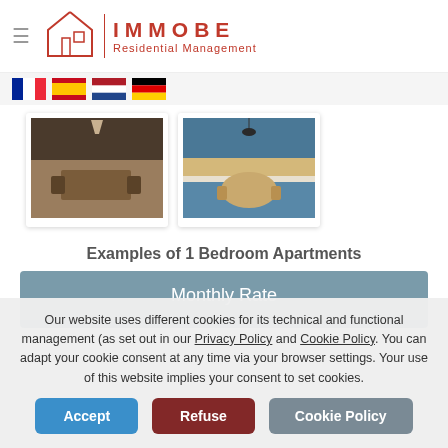IMMOBE Residential Management
[Figure (photo): Two apartment kitchen/dining room photos side by side]
Examples of 1 Bedroom Apartments
Monthly Rate
Our website uses different cookies for its technical and functional management (as set out in our Privacy Policy and Cookie Policy. You can adapt your cookie consent at any time via your browser settings. Your use of this website implies your consent to set cookies.